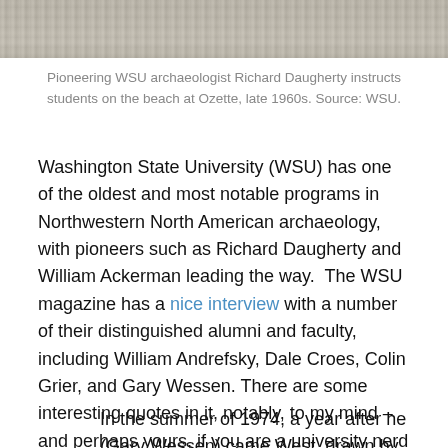[Figure (photo): Partial view of a beach scene, showing sand and rocks/debris along the shoreline, cropped at top of page.]
Pioneering WSU archaeologist Richard Daugherty instructs students on the beach at Ozette, late 1960s. Source: WSU.
Washington State University (WSU) has one of the oldest and most notable programs in Northwestern North American archaeology, with pioneers such as Richard Daugherty and William Ackerman leading the way.  The WSU magazine has a nice interview with a number of their distinguished alumni and faculty, including William Andrefsky, Dale Croes, Colin Grier, and Gary Wessen. There are some interesting quotes in it, notably, to my mind – and perhaps yours, if you are a university nerd like me:
In the summer of 1974, a year after he (Gary Wessen) came West, drawn by the promise of Ozette, there